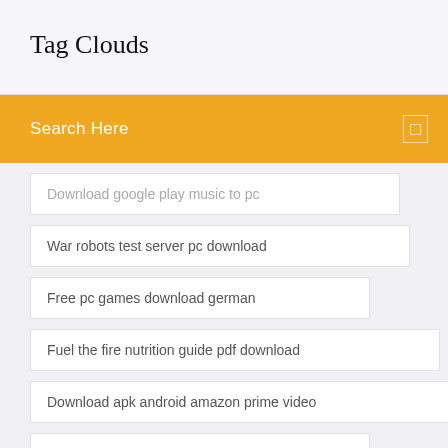Tag Clouds
Search Here
Download google play music to pc
War robots test server pc download
Free pc games download german
Fuel the fire nutrition guide pdf download
Download apk android amazon prime video
Download lightroom gx85 dcp file